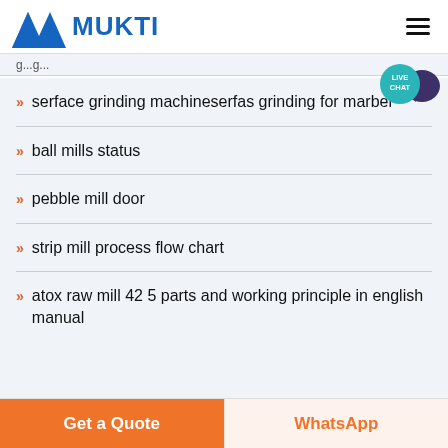MUKTI
serface grinding machineserfas grinding for marbel
ball mills status
pebble mill door
strip mill process flow chart
atox raw mill 42 5 parts and working principle in english manual